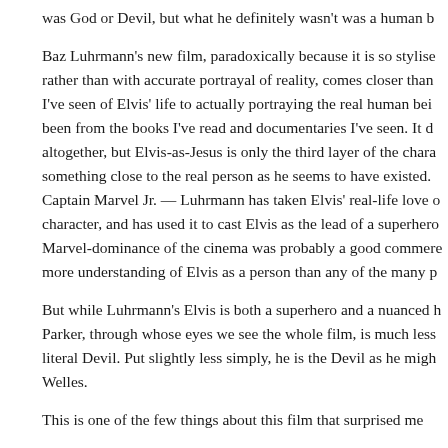was God or Devil, but what he definitely wasn't was a human b
Baz Luhrmann's new film, paradoxically because it is so stylise rather than with accurate portrayal of reality, comes closer than I've seen of Elvis' life to actually portraying the real human bei been from the books I've read and documentaries I've seen. It d altogether, but Elvis-as-Jesus is only the third layer of the chara something close to the real person as he seems to have existed. Captain Marvel Jr. — Luhrmann has taken Elvis' real-life love o character, and has used it to cast Elvis as the lead of a superhero Marvel-dominance of the cinema was probably a good commere more understanding of Elvis as a person than any of the many p
But while Luhrmann's Elvis is both a superhero and a nuanced h Parker, through whose eyes we see the whole film, is much less literal Devil. Put slightly less simply, he is the Devil as he migh Welles.
This is one of the few things about this film that surprised me